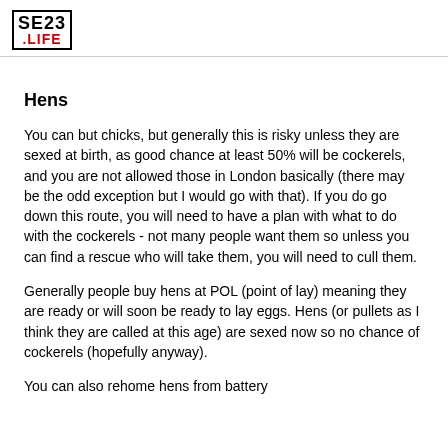SE23 .LIFE
Hens
You can but chicks, but generally this is risky unless they are sexed at birth, as good chance at least 50% will be cockerels, and you are not allowed those in London basically (there may be the odd exception but I would go with that). If you do go down this route, you will need to have a plan with what to do with the cockerels - not many people want them so unless you can find a rescue who will take them, you will need to cull them.
Generally people buy hens at POL (point of lay) meaning they are ready or will soon be ready to lay eggs. Hens (or pullets as I think they are called at this age) are sexed now so no chance of cockerels (hopefully anyway).
You can also rehome hens from battery...